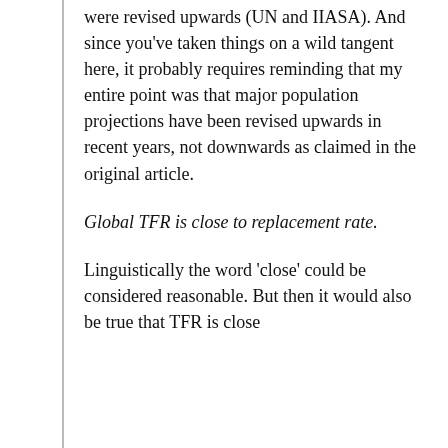were revised upwards (UN and IIASA). And since you've taken things on a wild tangent here, it probably requires reminding that my entire point was that major population projections have been revised upwards in recent years, not downwards as claimed in the original article.
Global TFR is close to replacement rate.
Linguistically the word 'close' could be considered reasonable. But then it would also be true that TFR is close